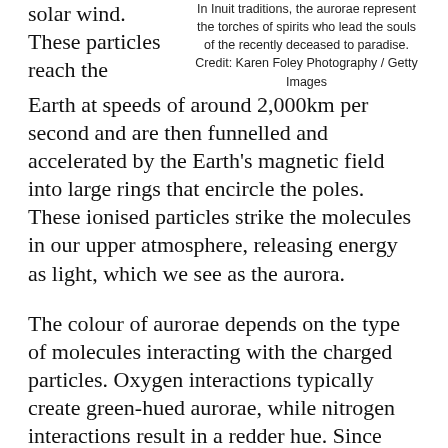solar wind. These particles reach the Earth at speeds of around 2,000km per second and are then funnelled and accelerated by the Earth's magnetic field into large rings that encircle the poles. These ionised particles strike the molecules in our upper atmosphere, releasing energy as light, which we see as the aurora.
In Inuit traditions, the aurorae represent the torches of spirits who lead the souls of the recently deceased to paradise. Credit: Karen Foley Photography / Getty Images
The colour of aurorae depends on the type of molecules interacting with the charged particles. Oxygen interactions typically create green-hued aurorae, while nitrogen interactions result in a redder hue. Since nitrogen comprises a majority of the air we breathe, people looking from farther away will tend to see aurorae that are high in the atmosphere, meaning they often appear red in colour.
These collisions are concentrated in rings approximately 20 degrees from the Poles. In the Northern Hemisphere, these rings cross over northern Europe, Russia and North America. People there can see a wide variety of aurorae, including